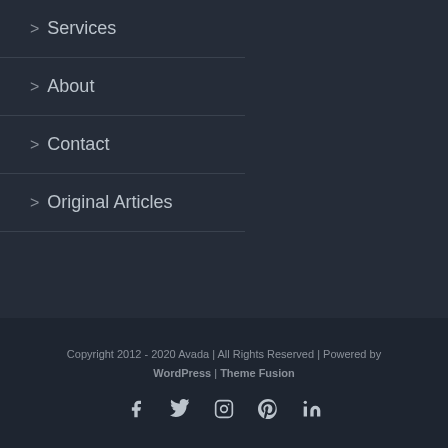> Services
> About
> Contact
> Original Articles
Copyright 2012 - 2020 Avada | All Rights Reserved | Powered by WordPress | Theme Fusion